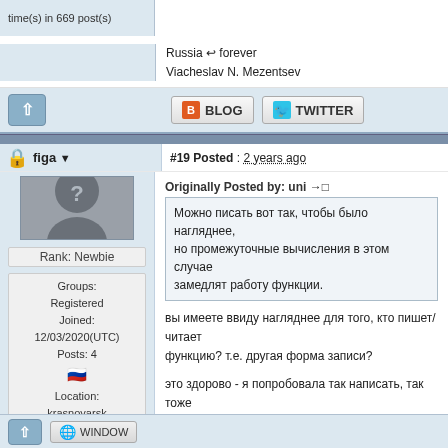time(s) in 669 post(s)
Russia ↩ forever
Viacheslav N. Mezentsev
[Figure (screenshot): Up arrow button, BLOG button, TWITTER button]
#19 Posted : 2 years ago
Originally Posted by: uni →□
Можно писать вот так, чтобы было нагляднее, но промежуточные вычисления в этом случае замедлят работу функции.
figa
Rank: Newbie
Groups: Registered
Joined: 12/03/2020(UTC)
Posts: 4
Location: krasnoyarsk
вы имеете ввиду нагляднее для того, кто пишет/читает функцию? т.е. другая форма записи?
это здорово - я попробовала так написать, так тоже запускается расчет, правда результат тот же плачевный :'(